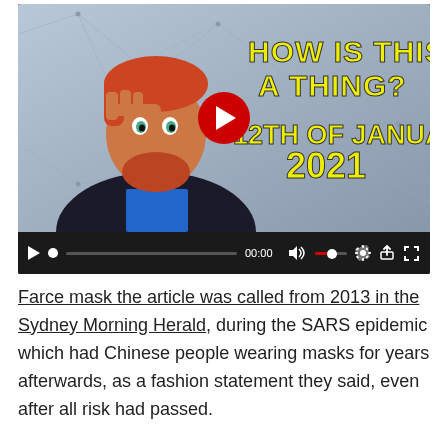[Figure (screenshot): Video thumbnail showing an animated cartoon man with red beard pointing to his head, with yellow bold text reading 'HOW IS THIS A THING? 12TH OF JANUARY 2021' on a dark network/web background. A red play button is centered over the thumbnail. Below the thumbnail is a dark video player control bar showing play button, dot, progress bar, time '00:00', volume icon, volume slider, settings gear icon, share icon, and fullscreen icon.]
Farce mask the article was called from 2013 in the Sydney Morning Herald, during the SARS epidemic which had Chinese people wearing masks for years afterwards, as a fashion statement they said, even after all risk had passed.